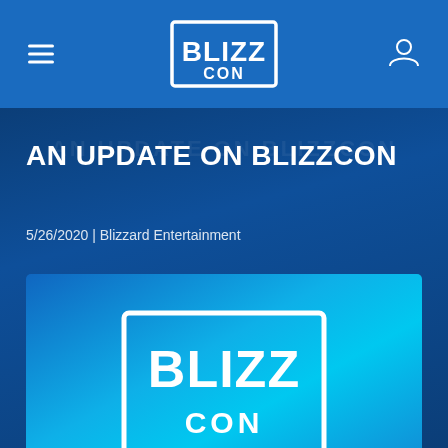BlizzCon navigation header
AN UPDATE ON BLIZZCON
5/26/2020 | Blizzard Entertainment
[Figure (logo): BlizzCon logo on a blue gradient background rectangle]
Hello Blizzard community,
Several weeks ago, I shared an about our uncertainty